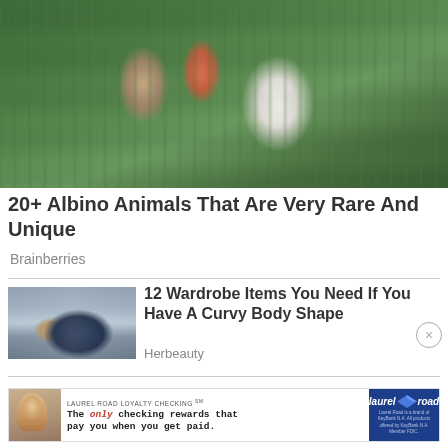[Figure (photo): Person in red and white striped shirt holding a white albino monkey/ape, surrounded by green grass/vegetation]
20+ Albino Animals That Are Very Rare And Unique
Brainberries
[Figure (photo): Woman lying on a dark surface near water, beach scene]
12 Wardrobe Items You Need If You Have A Curvy Body Shape
Herbeauty
[Figure (other): Laurel Road Loyalty Checking advertisement banner. Text: LAUREL ROAD LOYALTY CHECKING SM. The only checking rewards that pay you when you get paid. Laurel Road is a brand of KeyBank N.A. All products offered by KeyBank N.A. Member FDIC.]